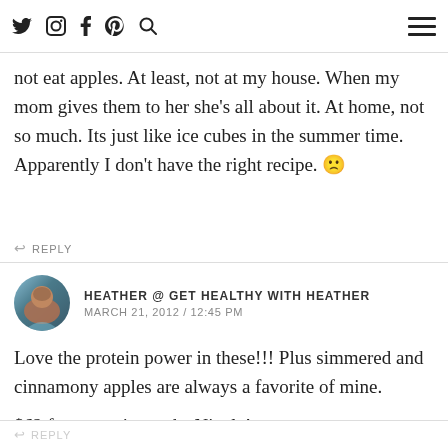I pretty much love apple cinnamon anything, so this sounds amazing. I do need to tell you though, Lexie will
not eat apples. At least, not at my house. When my mom gives them to her she's all about it. At home, not so much. Its just like ice cubes in the summer time. Apparently I don't have the right recipe. 🙁
↩ REPLY
HEATHER @ GET HEALTHY WITH HEATHER
MARCH 21, 2012 / 12:45 PM
Love the protein power in these!!! Plus simmered and cinnamony apples are always a favorite of mine.
$62 for groceries rocks Nicole!
↩ REPLY